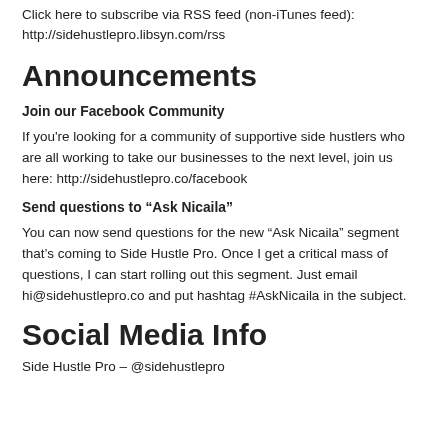Should You Start A Podcast Episode
Opening My LLC and Business Bank Account Episode
Click here to subscribe via RSS feed (non-iTunes feed): http://sidehustlepro.libsyn.com/rss
Announcements
Join our Facebook Community
If you're looking for a community of supportive side hustlers who are all working to take our businesses to the next level, join us here: http://sidehustlepro.co/facebook
Send questions to “Ask Nicaila”
You can now send questions for the new “Ask Nicaila” segment that’s coming to Side Hustle Pro. Once I get a critical mass of questions, I can start rolling out this segment. Just email hi@sidehustlepro.co and put hashtag #AskNicaila in the subject.
Social Media Info
Side Hustle Pro – @sidehustlepro